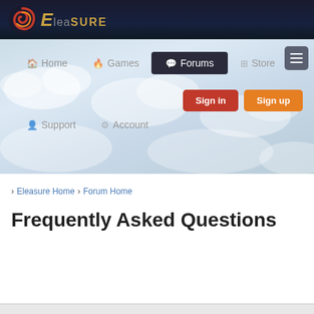[Figure (logo): Eleasure logo with stylized orange/red swirl icon and golden text on dark header bar]
[Figure (screenshot): Navigation bar with sky/cloud background showing Home, Games, Forums (active), Store menu items, Sign in and Sign up buttons, Support and Account links]
› Eleasure Home › Forum Home
Frequently Asked Questions